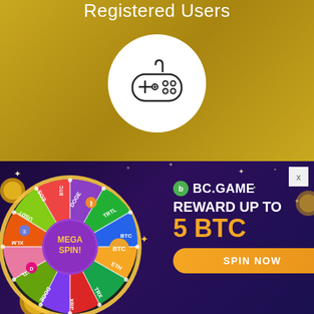Registered Users
[Figure (illustration): White circle with a game controller icon outline in the center, on a gold/dark yellow background]
[Figure (infographic): BC.GAME advertisement banner with a colorful spinning wheel showing cryptocurrency names (BTC, ETH, DOGE, XLM, USDT, TRX, XRP, TRTL, EOS, etc.) and text: BC.GAME REWARD UP TO 5 BTC, with a SPIN NOW button and a close X button]